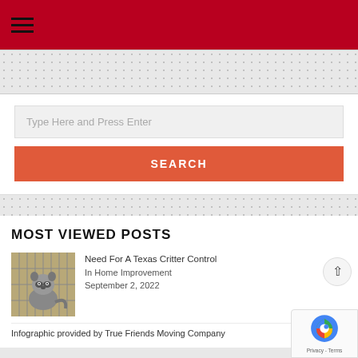Type Here and Press Enter
SEARCH
MOST VIEWED POSTS
[Figure (photo): A raccoon inside a wire cage/kennel]
Need For A Texas Critter Control
In Home Improvement
September 2, 2022
Infographic provided by True Friends Moving Company